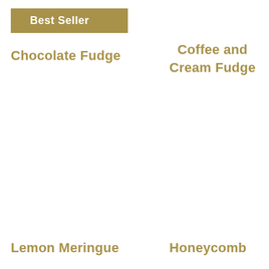Best Seller
Chocolate Fudge
Coffee and Cream Fudge
Lemon Meringue
Honeycomb